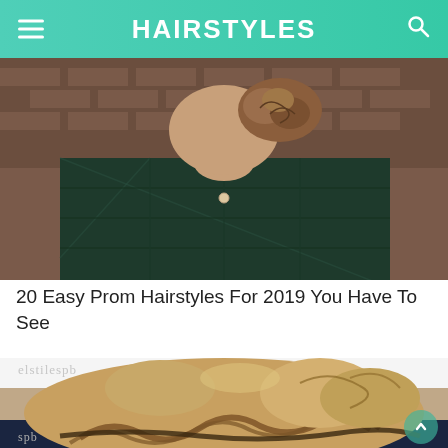HAIRSTYLES
[Figure (photo): Photo of a person wearing a dark plaid shirt with curly hair in a bun, standing against a brick wall background]
20 Easy Prom Hairstyles For 2019 You Have To See
[Figure (photo): Close-up photo of an elegant updo hairstyle with braids and curls, watermarked with 'elstilespb' and 'spb']